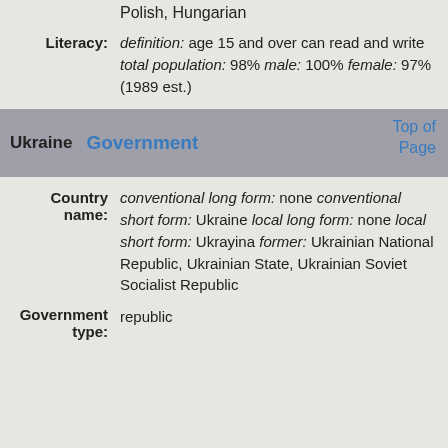Polish, Hungarian
Literacy: definition: age 15 and over can read and write total population: 98% male: 100% female: 97% (1989 est.)
Ukraine Government
Top of Page
Country name: conventional long form: none conventional short form: Ukraine local long form: none local short form: Ukrayina former: Ukrainian National Republic, Ukrainian State, Ukrainian Soviet Socialist Republic
Government type: republic